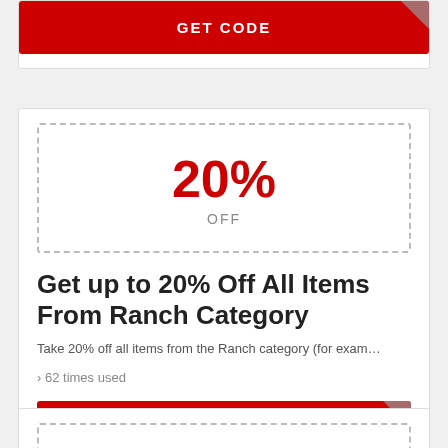[Figure (other): GET CODE button with corner fold, red background, white text]
[Figure (other): Coupon card showing 20% OFF discount for Ranch Category items, with dashed border coupon box, deal title, description, usage count, and GET CODE button]
[Figure (other): Partial coupon card at bottom with dashed border (cut off)]